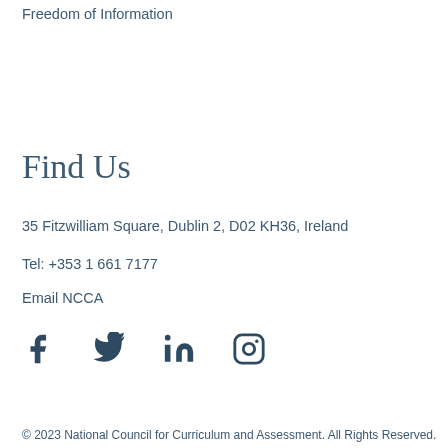Freedom of Information
Find Us
35 Fitzwilliam Square, Dublin 2, D02 KH36, Ireland
Tel: +353 1 661 7177
Email NCCA
[Figure (other): Social media icons: Facebook, Twitter, LinkedIn, Instagram]
© 2023 National Council for Curriculum and Assessment. All Rights Reserved.